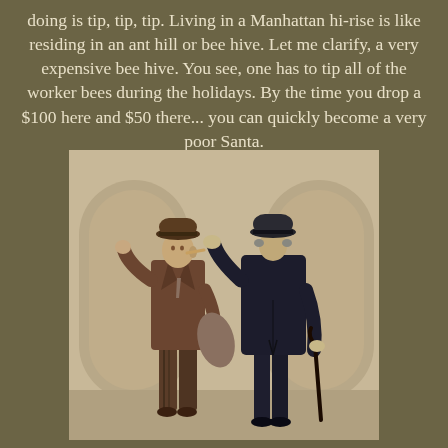doing is tip, tip, tip. Living in a Manhattan hi-rise is like residing in an ant hill or bee hive. Let me clarify, a very expensive bee hive. You see, one has to tip all of the worker bees during the holidays. By the time you drop a $100 here and $50 there... you can quickly become a very poor Santa.
[Figure (illustration): Vintage illustration of two well-dressed men in suits and hats greeting each other, one facing forward wearing a brown suit and fedora, the other seen from behind wearing a dark overcoat and bowler hat holding a cane, set in front of an arched building entrance.]